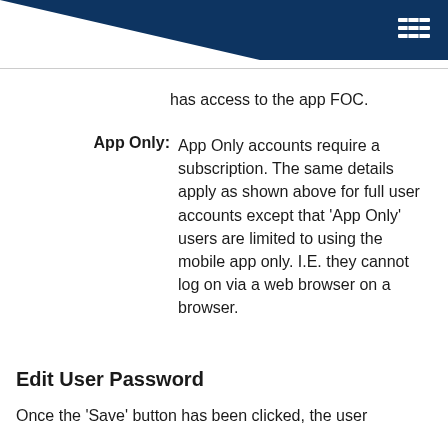Menu
has access to the app FOC.
App Only: App Only accounts require a subscription. The same details apply as shown above for full user accounts except that 'App Only' users are limited to using the mobile app only. I.E. they cannot log on via a web browser on a browser.
Edit User Password
Once the 'Save' button has been clicked, the user